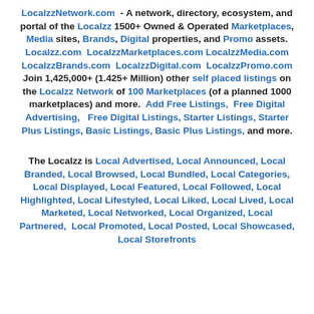LocalzzNetwork.com - A network, directory, ecosystem, and portal of the Localzz 1500+ Owned & Operated Marketplaces, Media sites, Brands, Digital properties, and Promo assets. Localzz.com  LocalzzMarketplaces.com LocalzzMedia.com LocalzzBrands.com  LocalzzDigital.com  LocalzzPromo.com  Join 1,425,000+ (1.425+ Million) other self placed listings on the Localzz Network of 100 Marketplaces (of a planned 1000 marketplaces) and more.  Add Free Listings,  Free Digital Advertising,   Free Digital Listings, Starter Listings, Starter Plus Listings, Basic Listings, Basic Plus Listings, and more.
The Localzz is Local Advertised, Local Announced, Local Branded, Local Browsed, Local Bundled, Local Categories, Local Displayed, Local Featured, Local Followed, Local Highlighted, Local Lifestyled, Local Liked, Local Lived, Local Marketed, Local Networked, Local Organized, Local Partnered,  Local Promoted, Local Posted, Local Showcased, Local Storefronts